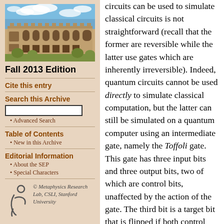[Figure (photo): Photograph of a sandstone university building (likely University of Sydney) against a blue sky with clouds]
Fall 2013 Edition
Cite this entry
Search this Archive
Advanced Search
Table of Contents
New in this Archive
Editorial Information
About the SEP
Special Characters
[Figure (logo): Metaphysics Research Lab, CSLI, Stanford University logo with stylized figure]
circuits can be used to simulate classical circuits is not straightforward (recall that the former are reversible while the latter use gates which are inherently irreversible). Indeed, quantum circuits cannot be used directly to simulate classical computation, but the latter can still be simulated on a quantum computer using an intermediate gate, namely the Toffoli gate. This gate has three input bits and three output bits, two of which are control bits, unaffected by the action of the gate. The third bit is a target bit that is flipped if both control bits are set to 1, and otherwise is left alone. This gate is reversible (its inverse is itself)